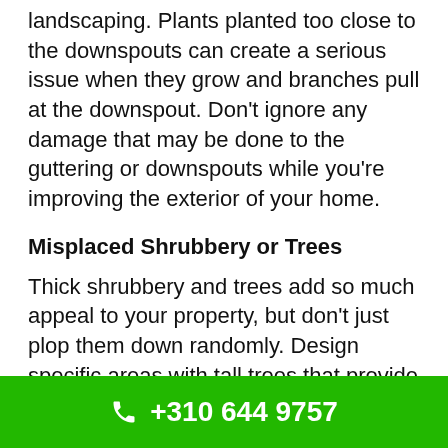landscaping. Plants planted too close to the downspouts can create a serious issue when they grow and branches pull at the downspout. Don't ignore any damage that may be done to the guttering or downspouts while you're improving the exterior of your home.
Misplaced Shrubbery or Trees
Thick shrubbery and trees add so much appeal to your property, but don't just plop them down randomly. Design specific areas with tall trees that provide
+310 644 9757